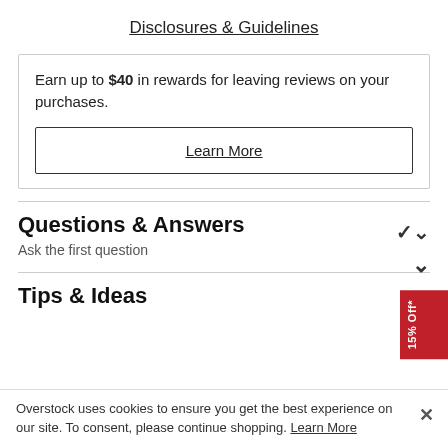Disclosures & Guidelines
Earn up to $40 in rewards for leaving reviews on your purchases.
Learn More
Questions & Answers
Ask the first question
Tips & Ideas
Overstock uses cookies to ensure you get the best experience on our site. To consent, please continue shopping. Learn More